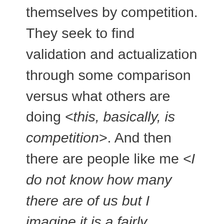themselves by competition. They seek to find validation and actualization through some comparison versus what others are doing <this, basically, is competition>. And then there are people like me <I do not know how many there are of us but I imagine it is a fairly significant %>. While I like winning and, on occasion, a good competition gets the heart rate up and 'ups my game', the majority of the time I don't view Life when I wake up and go to work as a competition with anyone and anything but myself. I simply want to do